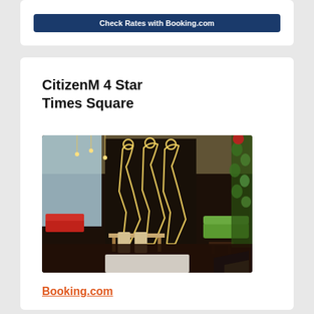[Figure (other): Blue button with text 'Check Rates with Booking.com']
CitizenM 4 Star Times Square
[Figure (photo): Interior lobby photo of CitizenM Times Square hotel showing modern decor with artistic wall murals of human figures, green sofas, dining area, and lush plant wall]
Booking.com